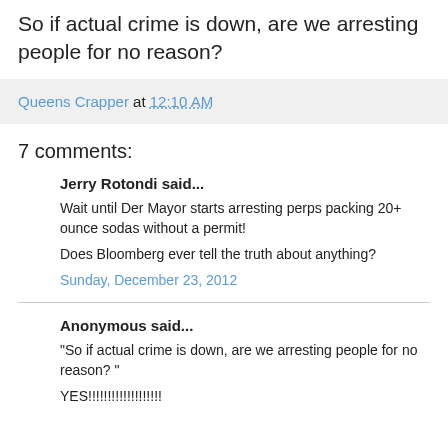So if actual crime is down, are we arresting people for no reason?
Queens Crapper at 12:10 AM
7 comments:
Jerry Rotondi said...
Wait until Der Mayor starts arresting perps packing 20+ ounce sodas without a permit!
Does Bloomberg ever tell the truth about anything?
Sunday, December 23, 2012
Anonymous said...
"So if actual crime is down, are we arresting people for no reason? "
YES!!!!!!!!!!!!!!!!!!!